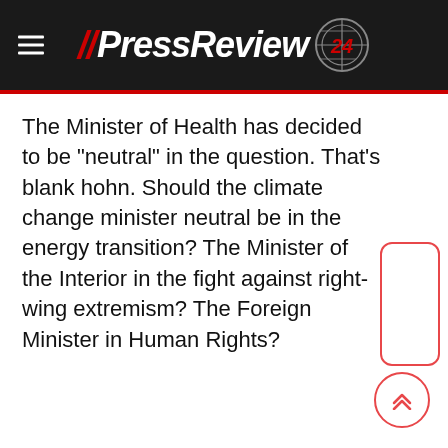PressReview24
The Minister of Health has decided to be "neutral" in the question. That's blank hohn. Should the climate change minister neutral be in the energy transition? The Minister of the Interior in the fight against right-wing extremism? The Foreign Minister in Human Rights?